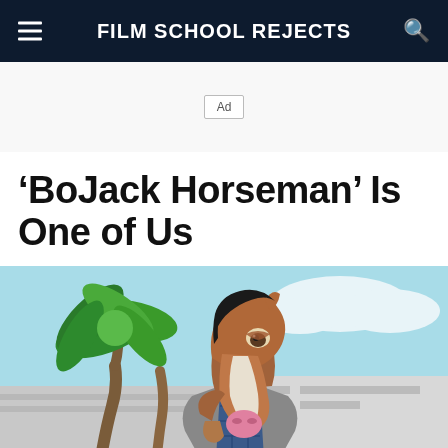FILM SCHOOL REJECTS
Ad
'BoJack Horseman' Is One of Us
[Figure (illustration): Animated illustration of BoJack Horseman character, an anthropomorphic brown horse with black hair wearing a grey jacket and blue patterned shirt, standing in front of a modern building with a palm tree in the background against a light blue sky with white clouds.]